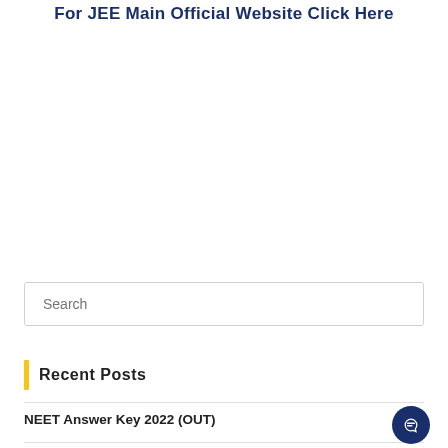For JEE Main Official Website Click Here
Search
Recent Posts
NEET Answer Key 2022 (OUT)